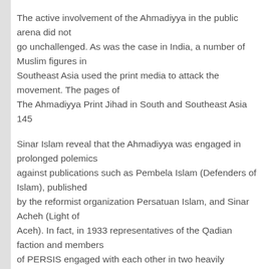The active involvement of the Ahmadiyya in the public arena did not go unchallenged. As was the case in India, a number of Muslim figures in Southeast Asia used the print media to attack the movement. The pages of
The Ahmadiyya Print Jihad in South and Southeast Asia 145
Sinar Islam reveal that the Ahmadiyya was engaged in prolonged polemics against publications such as Pembela Islam (Defenders of Islam), published by the reformist organization Persatuan Islam, and Sinar Acheh (Light of Aceh). In fact, in 1933 representatives of the Qadian faction and members of PERSIS engaged with each other in two heavily publicized debates,